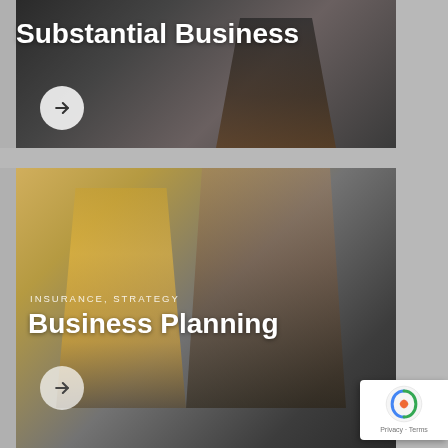[Figure (photo): Top card showing a person working at a desk, viewed from above, with overlaid bold white text 'Substantial Business' and a circular arrow button]
Substantial Business
[Figure (photo): Bottom card showing two women looking at a laptop together, smiling, with overlaid category text 'INSURANCE, STRATEGY' and bold white title 'Business Planning' and a circular arrow button]
INSURANCE, STRATEGY
Business Planning